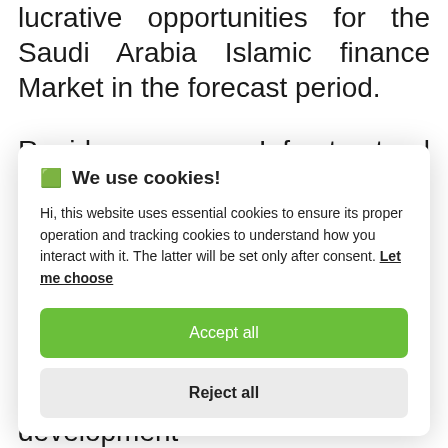lucrative opportunities for the Saudi Arabia Islamic finance Market in the forecast period.
Rapid Infrastructural Development Spurs
[Figure (screenshot): Cookie consent modal dialog with title 'We use cookies!', body text explaining essential and tracking cookies, a 'Let me choose' link, an 'Accept all' green button, and a 'Reject all' grey button.]
foreign investments for the development